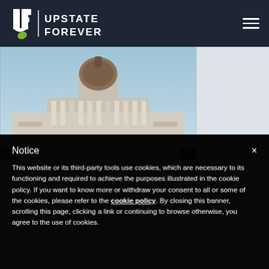[Figure (logo): Upstate Forever logo with stylized UF letters and leaf, white text on dark navy background]
[Figure (photo): Photograph of a government capitol building with dome and classical columns against a blue sky]
Notice
This website or its third-party tools use cookies, which are necessary to its functioning and required to achieve the purposes illustrated in the cookie policy. If you want to know more or withdraw your consent to all or some of the cookies, please refer to the cookie policy.
By closing this banner, scrolling this page, clicking a link or continuing to browse otherwise, you agree to the use of cookies.